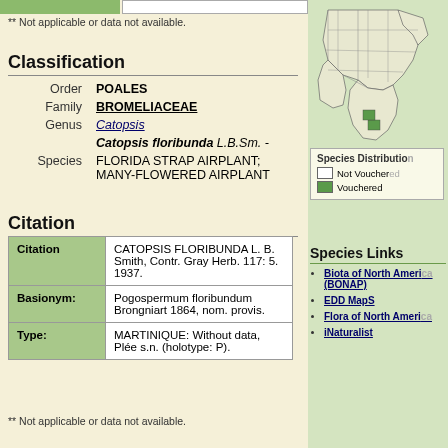** Not applicable or data not available.
Classification
|  |  |
| --- | --- |
| Order | POALES |
| Family | BROMELIACEAE |
| Genus | Catopsis |
|  | Catopsis floribunda L.B.Sm. - |
| Species | FLORIDA STRAP AIRPLANT; MANY-FLOWERED AIRPLANT |
Citation
|  |  |
| --- | --- |
| Citation | CATOPSIS FLORIBUNDA L. B. Smith, Contr. Gray Herb. 117: 5. 1937. |
| Basionym: | Pogospermum floribundum Brongniart 1864, nom. provis. |
| Type: | MARTINIQUE: Without data, Plée s.n. (holotype: P). |
** Not applicable or data not available.
[Figure (map): Species distribution map showing southeastern US region]
Species Distribution
Not Vouchered
Vouchered
Species Links
Biota of North America (BONAP)
EDD MapS
Flora of North America
iNaturalist